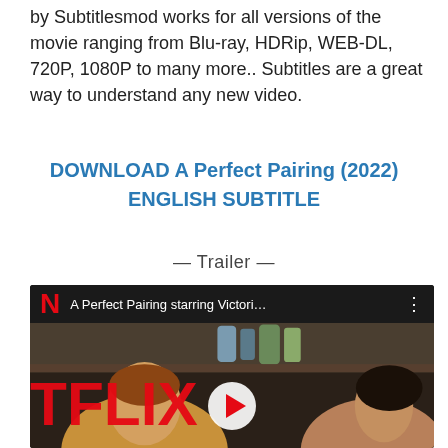by Subtitlesmod works for all versions of the movie ranging from Blu-ray, HDRip, WEB-DL, 720P, 1080P to many more.. Subtitles are a great way to understand any new video.
DOWNLOAD A Perfect Pairing (2022) ENGLISH SUBTITLE
— Trailer —
[Figure (screenshot): YouTube video thumbnail showing Netflix 'A Perfect Pairing starring Victori...' with Netflix logo (N), video title, three-dot menu, and movie scene with TFLIX text overlay and two actors, plus YouTube play button at bottom center]